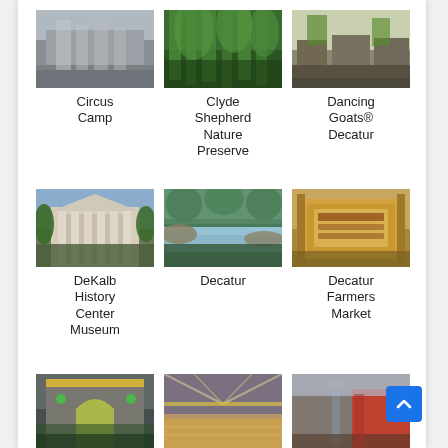[Figure (photo): Circus Camp – outdoor area with structures and fencing]
Circus Camp
[Figure (photo): Clyde Shepherd Nature Preserve – dense green forest with tall trees]
Clyde Shepherd Nature Preserve
[Figure (photo): Dancing Goats® Decatur – street view of storefronts with trees]
Dancing Goats® Decatur
[Figure (photo): DeKalb History Center Museum – historic building with columns]
DeKalb History Center Museum
[Figure (photo): Decatur – stream or creek in a wooded area]
Decatur
[Figure (photo): Decatur Farmers Market – wooden sign for a market]
Decatur Farmers Market
[Figure (photo): Decatur – building with colorful decorations and archway]
Decatur
[Figure (photo): Decatur – indoor gymnasium or sports arena]
Decatur
[Figure (photo): Decatur – street view with sculpture and red storefront]
Decatur